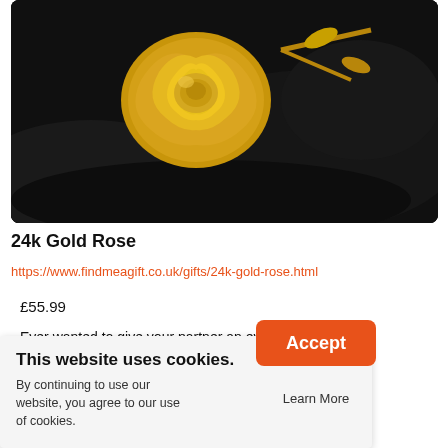[Figure (photo): A golden rose (24k gold plated) resting on a dark black furry fabric background. The rose is metallic gold colored with stem and leaves.]
24k Gold Rose
https://www.findmeagift.co.uk/gifts/24k-gold-rose.html
£55.99
Ever wanted to give your partner an everlasting rose whilst you say the cheesy/romantic (depends on your ... ou until the last ... ial golden ... 24k gold. It will ... of their golden ... them)!
This website uses cookies.
By continuing to use our website, you agree to our use of cookies.
Accept
Learn More